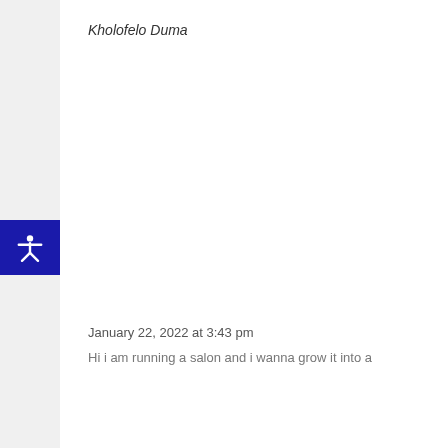Kholofelo Duma
January 22, 2022 at 3:43 pm
Hi i am running a salon and i wanna grow it into a